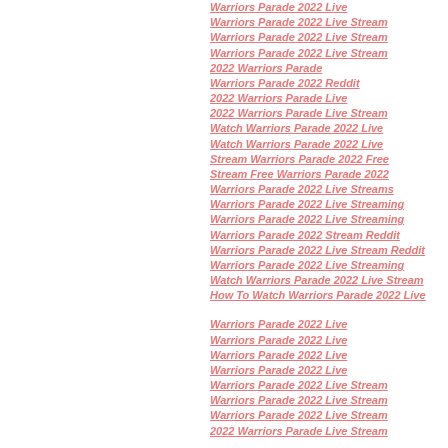Warriors Parade 2022 Live
Warriors Parade 2022 Live Stream
Warriors Parade 2022 Live Stream
Warriors Parade 2022 Live Stream
2022 Warriors Parade
Warriors Parade 2022 Reddit
2022 Warriors Parade Live
2022 Warriors Parade Live Stream
Watch Warriors Parade 2022 Live
Watch Warriors Parade 2022 Live
Stream Warriors Parade 2022 Free
Stream Free Warriors Parade 2022
Warriors Parade 2022 Live Streams
Warriors Parade 2022 Live Streaming
Warriors Parade 2022 Live Streaming
Warriors Parade 2022 Stream Reddit
Warriors Parade 2022 Live Stream Reddit
Warriors Parade 2022 Live Streaming
Watch Warriors Parade 2022 Live Stream
How To Watch Warriors Parade 2022 Live
Warriors Parade 2022 Live
Warriors Parade 2022 Live
Warriors Parade 2022 Live
Warriors Parade 2022 Live
Warriors Parade 2022 Live Stream
Warriors Parade 2022 Live Stream
Warriors Parade 2022 Live Stream
2022 Warriors Parade Live Stream